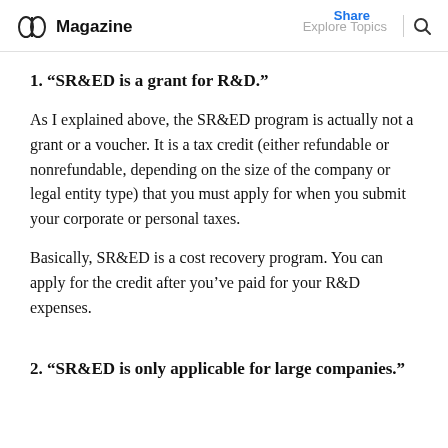Magazine | Explore Topics | Share
1. “SR&ED is a grant for R&D.”
As I explained above, the SR&ED program is actually not a grant or a voucher. It is a tax credit (either refundable or nonrefundable, depending on the size of the company or legal entity type) that you must apply for when you submit your corporate or personal taxes.
Basically, SR&ED is a cost recovery program. You can apply for the credit after you’ve paid for your R&D expenses.
2. “SR&ED is only applicable for large companies.”